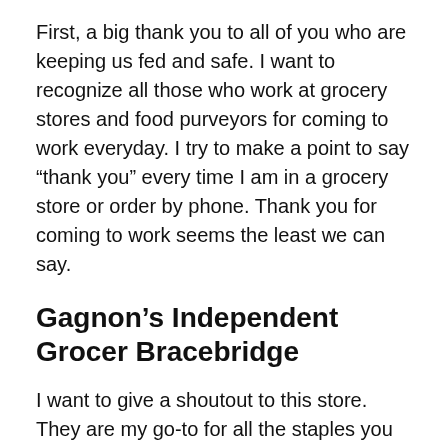First, a big thank you to all of you who are keeping us fed and safe. I want to recognize all those who work at grocery stores and food purveyors for coming to work everyday. I try to make a point to say “thank you” every time I am in a grocery store or order by phone. Thank you for coming to work seems the least we can say.
Gagnon’s Independent Grocer Bracebridge
I want to give a shoutout to this store. They are my go-to for all the staples you need. When you arrive you pick up a cart that has been sanitized and are given a briefing by an attendant at the door who explains the safety rules inside. The isles are clearly marked with arrows and at the check out there are clearly marked footsteps six